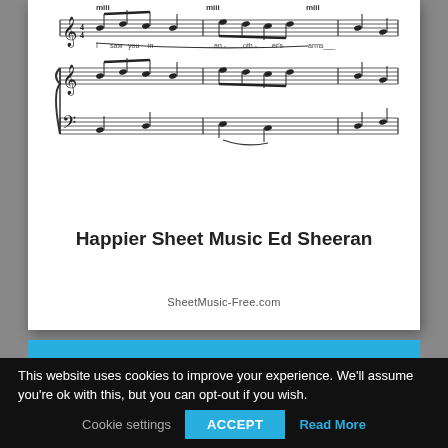[Figure (illustration): Sheet music excerpt showing three staves (treble clef melody with lyrics, treble clef piano, bass clef piano) with musical notation for a portion of 'Happier' by Ed Sheeran. Lyrics visible: 'I saw you in an-oth-er's arms']
SheetMusic-Free.com
Happier Sheet Music Ed Sheeran
This website uses cookies to improve your experience. We'll assume you're ok with this, but you can opt-out if you wish.
Cookie settings  ACCEPT  Read More